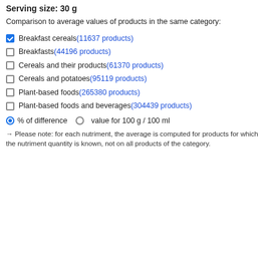Serving size: 30 g
Comparison to average values of products in the same category:
Breakfast cereals (11637 products) [checked]
Breakfasts (44196 products) [unchecked]
Cereals and their products (61370 products) [unchecked]
Cereals and potatoes (95119 products) [unchecked]
Plant-based foods (265380 products) [unchecked]
Plant-based foods and beverages (304439 products) [unchecked]
% of difference   value for 100 g / 100 ml
→ Please note: for each nutriment, the average is computed for products for which the nutriment quantity is known, not on all products of the category.